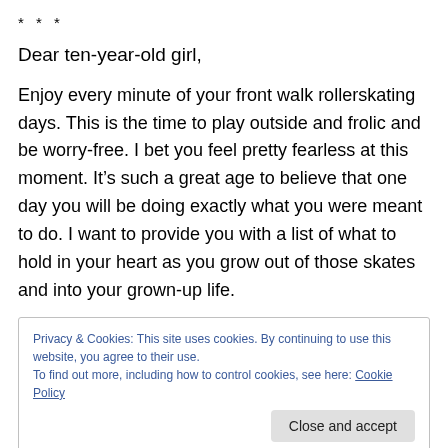* * *
Dear ten-year-old girl,
Enjoy every minute of your front walk rollerskating days. This is the time to play outside and frolic and be worry-free. I bet you feel pretty fearless at this moment. It’s such a great age to believe that one day you will be doing exactly what you were meant to do. I want to provide you with a list of what to hold in your heart as you grow out of those skates and into your grown-up life.
Privacy & Cookies: This site uses cookies. By continuing to use this website, you agree to their use.
To find out more, including how to control cookies, see here: Cookie Policy
Close and accept
2) Know that you are worthy of love at all times and